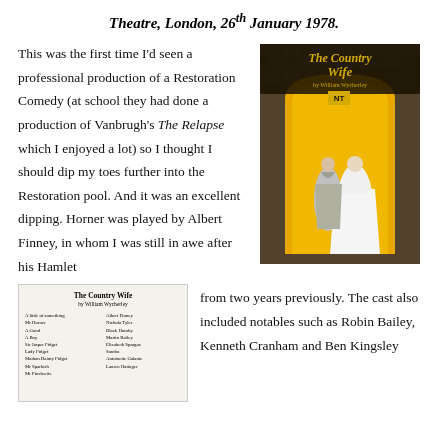Theatre, London, 26th January 1978.
This was the first time I'd seen a professional production of a Restoration Comedy (at school they had done a production of Vanbrugh's The Relapse which I enjoyed a lot) so I thought I should dip my toes further into the Restoration pool. And it was an excellent dipping. Horner was played by Albert Finney, in whom I was still in awe after his Hamlet
[Figure (photo): Theatre programme cover for The Country Wife by William Wycherley, National Theatre. Yellow and black design with two figures in period costume.]
[Figure (photo): Interior page of theatre programme for The Country Wife showing cast list.]
from two years previously. The cast also included notables such as Robin Bailey, Kenneth Cranham and Ben Kingsley